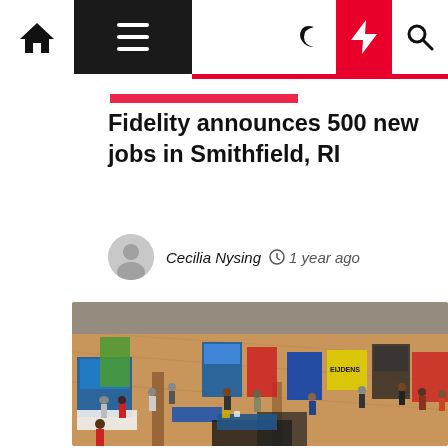Navigation bar with home, menu, moon, bolt, and search icons
Fidelity announces 500 new jobs in Smithfield, RI
Cecilia Nysing  1 year ago
[Figure (photo): Aerial view of a large job fair or career expo inside a convention hall, with many booths, banners, and attendees milling around on a hardwood floor.]